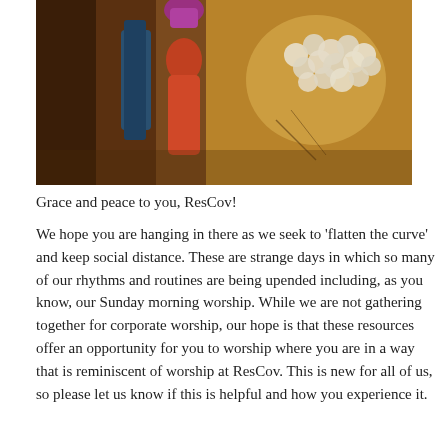[Figure (illustration): A painting with warm earthy tones showing figures in red and orange garments with a purple/pink headdress on the left, and a cluster of white round objects (possibly eggs or stones) on the right against a brown background with blue accents.]
Grace and peace to you, ResCov!
We hope you are hanging in there as we seek to 'flatten the curve' and keep social distance. These are strange days in which so many of our rhythms and routines are being upended including, as you know, our Sunday morning worship. While we are not gathering together for corporate worship, our hope is that these resources offer an opportunity for you to worship where you are in a way that is reminiscent of worship at ResCov. This is new for all of us, so please let us know if this is helpful and how you experience it.